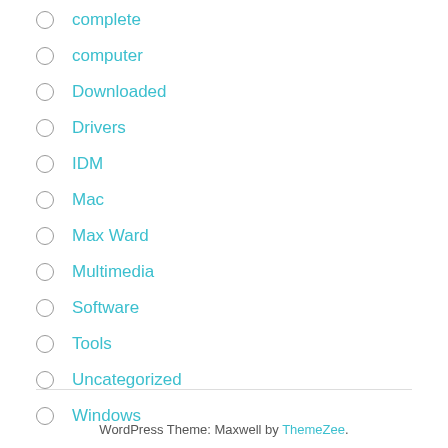complete
computer
Downloaded
Drivers
IDM
Mac
Max Ward
Multimedia
Software
Tools
Uncategorized
Windows
WordPress Theme: Maxwell by ThemeZee.